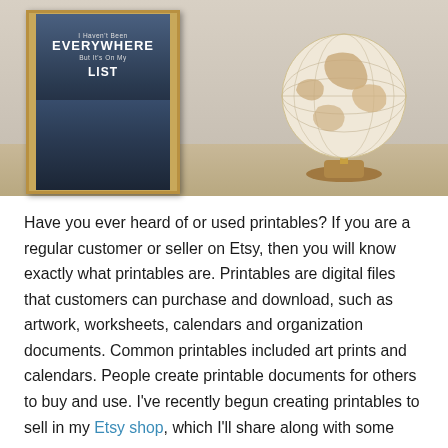[Figure (photo): A framed art print with text 'I Haven't Been EVERYWHERE But It's On My LIST' showing a black and white aerial city view, placed on a shelf next to a decorative globe on a wooden stand.]
Have you ever heard of or used printables? If you are a regular customer or seller on Etsy, then you will know exactly what printables are. Printables are digital files that customers can purchase and download, such as artwork, worksheets, calendars and organization documents. Common printables included art prints and calendars. People create printable documents for others to buy and use. I've recently begun creating printables to sell in my Etsy shop, which I'll share along with some